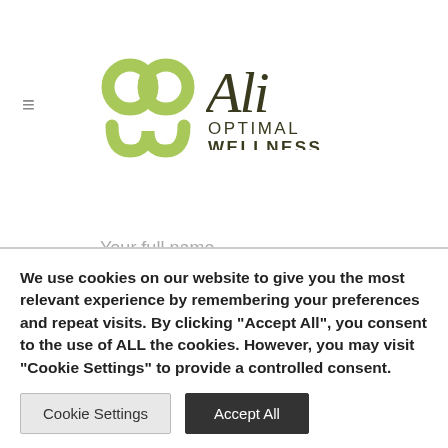[Figure (logo): Ali Optimal Wellness logo with green interlocking circular shapes and dark text]
Your full name
E-mail address
We use cookies on our website to give you the most relevant experience by remembering your preferences and repeat visits. By clicking "Accept All", you consent to the use of ALL the cookies. However, you may visit "Cookie Settings" to provide a controlled consent.
Cookie Settings
Accept All